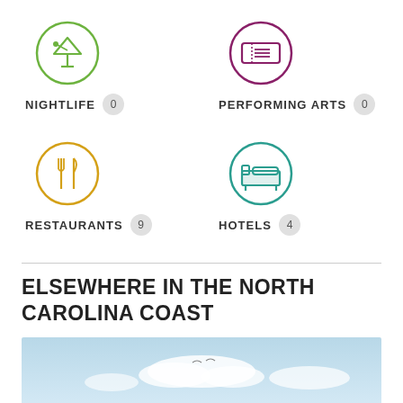[Figure (infographic): Nightlife category icon: green circle with martini glass, count badge 0]
NIGHTLIFE 0
[Figure (infographic): Performing Arts category icon: purple circle with ticket, count badge 0]
PERFORMING ARTS 0
[Figure (infographic): Restaurants category icon: gold/orange circle with fork and knife, count badge 9]
RESTAURANTS 9
[Figure (infographic): Hotels category icon: teal circle with bed, count badge 4]
HOTELS 4
ELSEWHERE IN THE NORTH CAROLINA COAST
[Figure (photo): Coastal/beach photo strip showing light blue sky and white clouds over water]